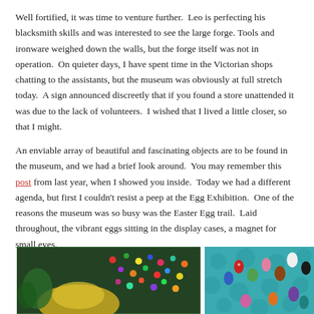Well fortified, it was time to venture further.  Leo is perfecting his blacksmith skills and was interested to see the large forge. Tools and ironware weighed down the walls, but the forge itself was not in operation.  On quieter days, I have spent time in the Victorian shops chatting to the assistants, but the museum was obviously at full stretch today.  A sign announced discreetly that if you found a store unattended it was due to the lack of volunteers.  I wished that I lived a little closer, so that I might.
An enviable array of beautiful and fascinating objects are to be found in the museum, and we had a brief look around.  You may remember this post from last year, when I showed you inside.  Today we had a different agenda, but first I couldn't resist a peep at the Egg Exhibition.  One of the reasons the museum was so busy was the Easter Egg trail.  Laid throughout, the vibrant eggs sitting in the display cases, a magnet for small eyes.
[Figure (photo): Two photos side by side: left photo shows a dark interior with colourful decorated eggs or ornaments hanging/displayed on walls in a dimly lit museum setting; right photo shows decorated Easter eggs arranged on a teal/turquoise background with circular spots.]